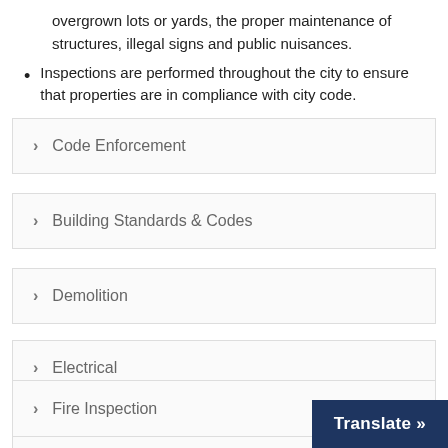overgrown lots or yards, the proper maintenance of structures, illegal signs and public nuisances.
Inspections are performed throughout the city to ensure that properties are in compliance with city code.
Code Enforcement
Building Standards & Codes
Demolition
Electrical
Fire Inspection
Translate »